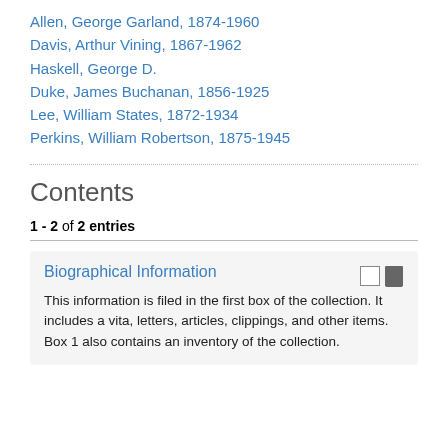Allen, George Garland, 1874-1960
Davis, Arthur Vining, 1867-1962
Haskell, George D.
Duke, James Buchanan, 1856-1925
Lee, William States, 1872-1934
Perkins, William Robertson, 1875-1945
Contents
1 - 2 of 2 entries
Biographical Information
This information is filed in the first box of the collection. It includes a vita, letters, articles, clippings, and other items. Box 1 also contains an inventory of the collection.